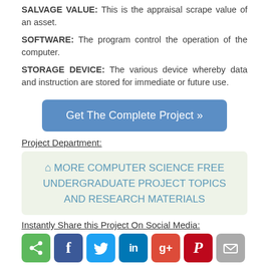SALVAGE VALUE: This is the appraisal scrape value of an asset.
SOFTWARE: The program control the operation of the computer.
STORAGE DEVICE: The various device whereby data and instruction are stored for immediate or future use.
[Figure (other): Blue rounded button labeled 'Get The Complete Project »']
Project Department:
[Figure (other): Light green box with home icon and text: MORE COMPUTER SCIENCE FREE UNDERGRADUATE PROJECT TOPICS AND RESEARCH MATERIALS]
Instantly Share this Project On Social Media:
[Figure (other): Row of social media share icons: share (green), Facebook (blue), Twitter (light blue), LinkedIn (blue), Google+ (red), Pinterest (dark red), Email (grey)]